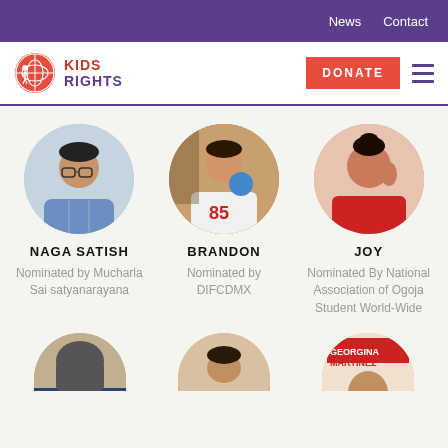News  Contact
[Figure (logo): KidsRights logo with globe icon, KIDS RIGHTS text]
DONATE
[Figure (photo): Circular portrait photo of Naga Satish, young man with glasses]
NAGA SATISH
Nominated by Mucharla Sai satyanarayana
[Figure (photo): Circular portrait photo of Brandon, young boy holding a blue disc wearing number 85 shirt]
BRANDON
Nominated by DIFCDMX
[Figure (photo): Circular portrait photo of Joy, young woman in red]
JOY
Nominated By National Association of Ogoja Student World-Wide
[Figure (photo): Partial circular portrait of person wearing hijab, bottom row]
[Figure (photo): Partial circular portrait of man, bottom row]
[Figure (photo): Partial circular portrait showing Georgina Martinez text, bottom row]